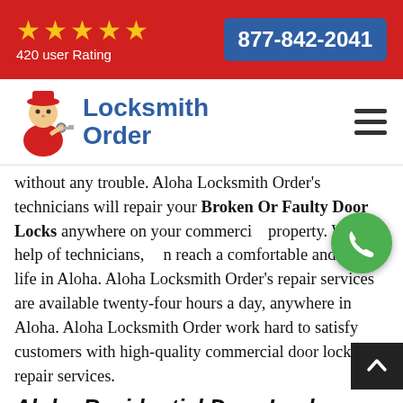★★★★★ 420 user Rating | 877-842-2041
[Figure (logo): Locksmith Order logo with locksmith character illustration and blue text reading 'Locksmith Order']
without any trouble. Aloha Locksmith Order's technicians will repair your Broken Or Faulty Door Locks anywhere on your commercial property. With the help of technicians, reach a comfortable and secure life in Aloha. Aloha Locksmith Order's repair services are available twenty-four hours a day, anywhere in Aloha. Aloha Locksmith Order work hard to satisfy customers with high-quality commercial door lock repair services.
Aloha Residential Door Lock Repair